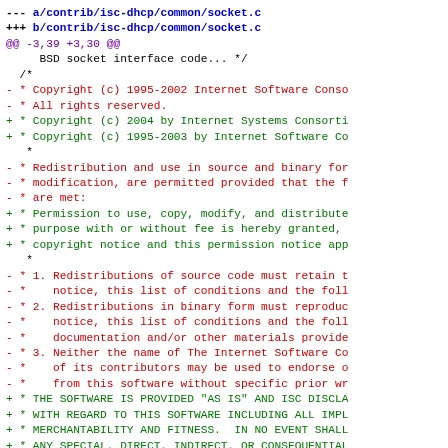--- a/contrib/isc-dhcp/common/socket.c
+++ b/contrib/isc-dhcp/common/socket.c
@@ -3,39 +3,30 @@
     BSD socket interface code... */

  /*
- * Copyright (c) 1995-2002 Internet Software Conso
- * All rights reserved.
+ * Copyright (c) 2004 by Internet Systems Consorti
+ * Copyright (c) 1995-2003 by Internet Software Co
  *
- * Redistribution and use in source and binary for
- * modification, are permitted provided that the f
- * are met:
+ * Permission to use, copy, modify, and distribute
+ * purpose with or without fee is hereby granted,
+ * copyright notice and this permission notice app
  *
- * 1. Redistributions of source code must retain t
- *    notice, this list of conditions and the foll
- * 2. Redistributions in binary form must reproduc
- *    notice, this list of conditions and the foll
- *    documentation and/or other materials provide
- * 3. Neither the name of The Internet Software Co
- *    of its contributors may be used to endorse o
- *    from this software without specific prior wr
+ * THE SOFTWARE IS PROVIDED "AS IS" AND ISC DISCLA
+ * WITH REGARD TO THIS SOFTWARE INCLUDING ALL IMPL
+ * MERCHANTABILITY AND FITNESS.  IN NO EVENT SHALL
+ * ANY SPECIAL, DIRECT, INDIRECT, OR CONSEQUENTIAL